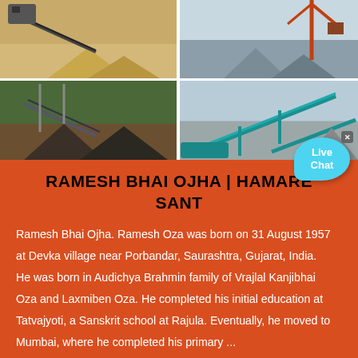[Figure (photo): Four-panel photo collage showing industrial mining/quarry equipment with conveyor belts, cranes, and gravel/sand piles at various outdoor sites]
RAMESH BHAI OJHA | HAMARE SANT
Ramesh Bhai Ojha. Ramesh Oza was born on 31 August 1957 at Devka village near Porbandar, Saurashtra, Gujarat, India. He was born in Audichya Brahmin family of Vrajlal Kanjibhai Oza and Laxmiben Oza. He completed his initial education at Tatvajyoti, a Sanskrit school at Rajula. Eventually, he moved to Mumbai, where he completed his primary ...